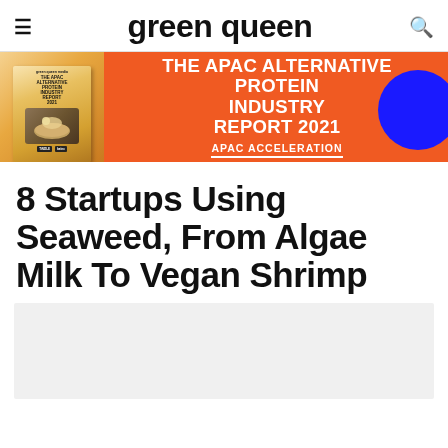green queen
[Figure (infographic): Orange banner advertisement for 'The APAC Alternative Protein Industry Report 2021' with book cover image on the left showing food dish, white bold text in the center, 'APAC ACCELERATION' subtitle underlined, and a blue circle on the right.]
8 Startups Using Seaweed, From Algae Milk To Vegan Shrimp
[Figure (photo): Light gray image placeholder area at the bottom of the page.]